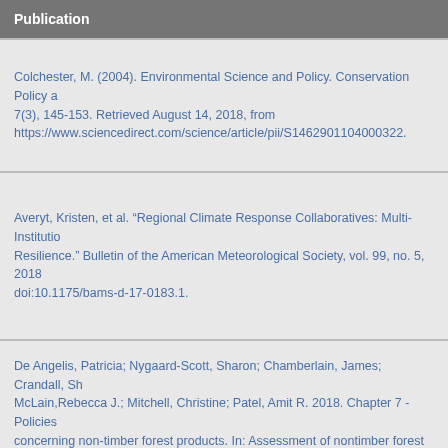Publication
Colchester, M. (2004). Environmental Science and Policy. Conservation Policy a 7(3), 145-153. Retrieved August 14, 2018, from https://www.sciencedirect.com/science/article/pii/S1462901104000322.
Averyt, Kristen, et al. “Regional Climate Response Collaboratives: Multi-Institutio Resilience.” Bulletin of the American Meteorological Society, vol. 99, no. 5, 2018 doi:10.1175/bams-d-17-0183.1.
De Angelis, Patricia; Nygaard-Scott, Sharon; Chamberlain, James; Crandall, Sh McLain,Rebecca J.; Mitchell, Christine; Patel, Amit R. 2018. Chapter 7 - Policies concerning non-timber forest products. In: Assessment of nontimber forest produ under changing conditions. General Technical Report SRS-232, USDA Forest S Research Station. pages 153-192